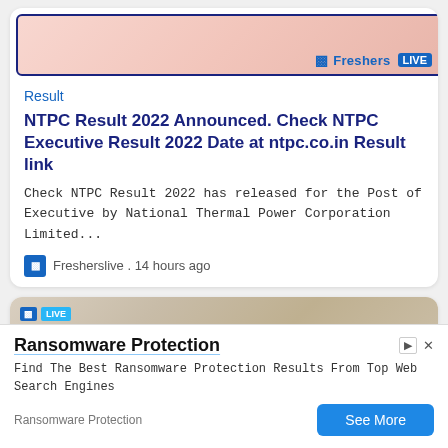[Figure (screenshot): Card with pinkish background image showing FreshersLIVE logo in top right corner, bordered with dark blue]
Result
NTPC Result 2022 Announced. Check NTPC Executive Result 2022 Date at ntpc.co.in Result link
Check NTPC Result 2022 has released for the Post of Executive by National Thermal Power Corporation Limited...
Fresherslive . 14 hours ago
[Figure (photo): Second card with a blurred photo showing circular metal/industrial objects, with FreshersLIVE logo overlay in top left]
Ransomware Protection
Find The Best Ransomware Protection Results From Top Web Search Engines
Ransomware Protection
See More